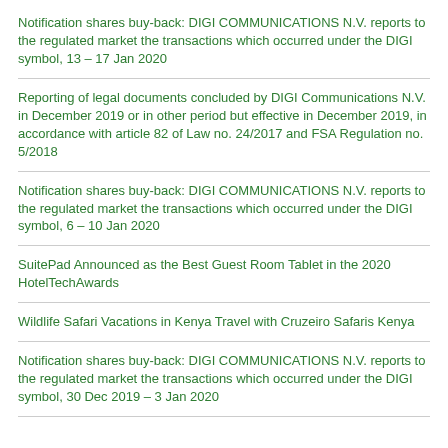Notification shares buy-back: DIGI COMMUNICATIONS N.V. reports to the regulated market the transactions which occurred under the DIGI symbol, 13 – 17 Jan 2020
Reporting of legal documents concluded by DIGI Communications N.V. in December 2019 or in other period but effective in December 2019, in accordance with article 82 of Law no. 24/2017 and FSA Regulation no. 5/2018
Notification shares buy-back: DIGI COMMUNICATIONS N.V. reports to the regulated market the transactions which occurred under the DIGI symbol, 6 – 10 Jan 2020
SuitePad Announced as the Best Guest Room Tablet in the 2020 HotelTechAwards
Wildlife Safari Vacations in Kenya Travel with Cruzeiro Safaris Kenya
Notification shares buy-back: DIGI COMMUNICATIONS N.V. reports to the regulated market the transactions which occurred under the DIGI symbol, 30 Dec 2019 – 3 Jan 2020